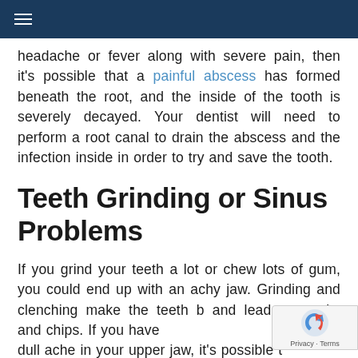≡
headache or fever along with severe pain, then it's possible that a painful abscess has formed beneath the root, and the inside of the tooth is severely decayed. Your dentist will need to perform a root canal to drain the abscess and the infection inside in order to try and save the tooth.
Teeth Grinding or Sinus Problems
If you grind your teeth a lot or chew lots of gum, you could end up with an achy jaw. Grinding and clenching make the teeth br and lead to cracks and chips. If you have dull ache in your upper jaw, it's possible t the sininjure tealheire related that it